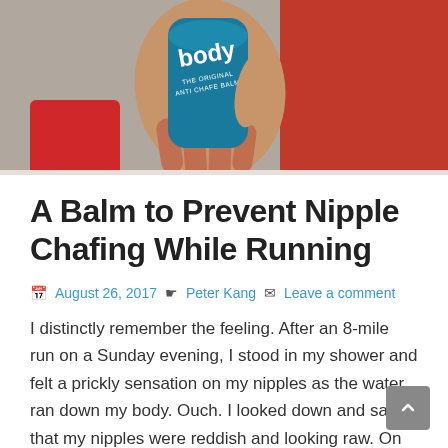[Figure (photo): Hand holding a teal/blue cylindrical Body Glide anti-chafe balm product against a red background]
A Balm to Prevent Nipple Chafing While Running
August 26, 2017  Peter Kang  Leave a comment
I distinctly remember the feeling. After an 8-mile run on a Sunday evening, I stood in my shower and felt a prickly sensation on my nipples as the water ran down my body. Ouch. I looked down and saw that my nipples were reddish and looking raw. On previous long runs, I had worn a tight Underarmour shirt that had zero sway